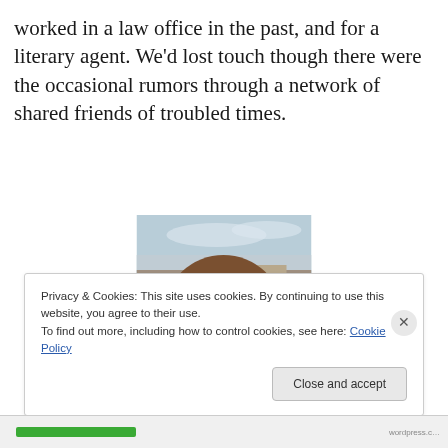worked in a law office in the past, and for a literary agent. We'd lost touch though there were the occasional rumors through a network of shared friends of troubled times.
[Figure (photo): Portrait photograph of a young woman with curly reddish-brown hair, looking back over her shoulder toward the camera, outdoors with a cloudy sky and buildings in the background.]
Privacy & Cookies: This site uses cookies. By continuing to use this website, you agree to their use.
To find out more, including how to control cookies, see here: Cookie Policy
Close and accept